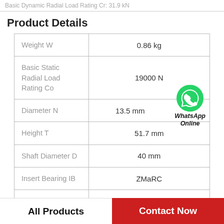Basic Dynamic Radial Load Rating Cr: 31.9 kN
Product Details
| Property | Value |
| --- | --- |
| Weight W | 0.86 kg |
| Basic Static Radial Load Rating Co | 19000 N |
| Diameter N | 13.5 mm |
| Height T | 51.7 mm |
| Shaft Diameter D | 40 mm |
| Insert Bearing IB | ZMaRC |
[Figure (logo): WhatsApp green phone icon with 'WhatsApp Online' text]
All Products | Contact Now